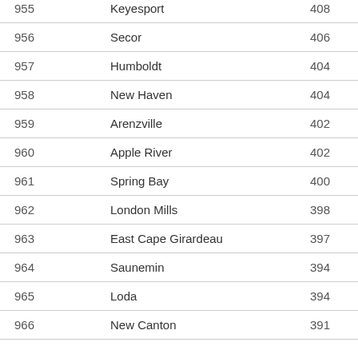| Rank | Place | Population |
| --- | --- | --- |
| 955 | Keyesport | 408 |
| 956 | Secor | 406 |
| 957 | Humboldt | 404 |
| 958 | New Haven | 404 |
| 959 | Arenzville | 402 |
| 960 | Apple River | 402 |
| 961 | Spring Bay | 400 |
| 962 | London Mills | 398 |
| 963 | East Cape Girardeau | 397 |
| 964 | Saunemin | 394 |
| 965 | Loda | 394 |
| 966 | New Canton | 391 |